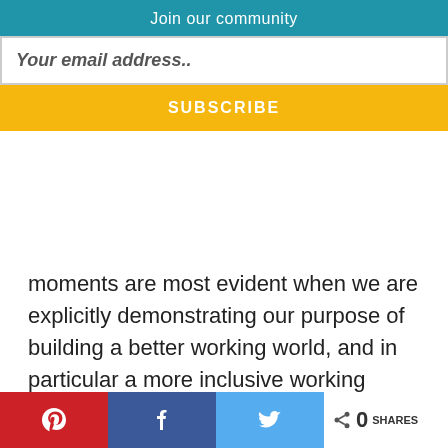Join our community
Your email address..
SUBSCRIBE
moments are most evident when we are explicitly demonstrating our purpose of building a better working world, and in particular a more inclusive working world. A great example of this was when we featured on Episode 2 of ABC's recent 3-part documentary, Employable Me.
We recognise that the workplace is an engine room for social change. EY has a workforce of 7000 people in Oceania, and 250,000 globally. What we do here –
[Figure (infographic): Social share bar with Pinterest, Facebook, Twitter buttons and share count showing 0 SHARES]